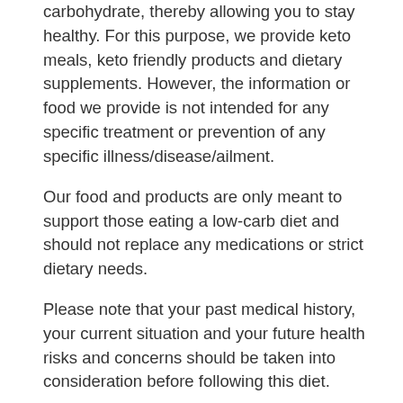carbohydrate, thereby allowing you to stay healthy. For this purpose, we provide keto meals, keto friendly products and dietary supplements. However, the information or food we provide is not intended for any specific treatment or prevention of any specific illness/disease/ailment.
Our food and products are only meant to support those eating a low-carb diet and should not replace any medications or strict dietary needs.
Please note that your past medical history, your current situation and your future health risks and concerns should be taken into consideration before following this diet.
In no event shall we be held liable for any direct, indirect, incidental, special, exemplary or consequential damages however caused, arising out of or in connection with the use of service provided by us. You will be solely responsible for your wellness of your body, health and condition